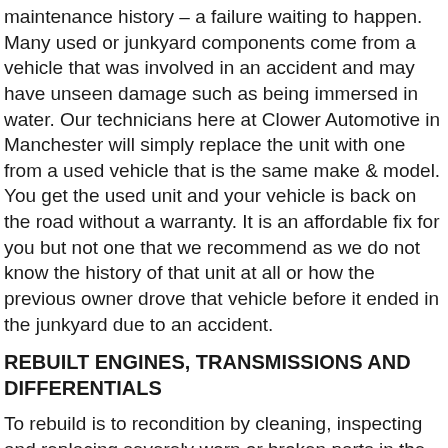maintenance history – a failure waiting to happen. Many used or junkyard components come from a vehicle that was involved in an accident and may have unseen damage such as being immersed in water. Our technicians here at Clower Automotive in Manchester will simply replace the unit with one from a used vehicle that is the same make & model. You get the used unit and your vehicle is back on the road without a warranty. It is an affordable fix for you but not one that we recommend as we do not know the history of that unit at all or how the previous owner drove that vehicle before it ended in the junkyard due to an accident.
REBUILT ENGINES, TRANSMISSIONS AND DIFFERENTIALS
To rebuild is to recondition by cleaning, inspecting and replacing severely worn or broken parts in the engine or transmission. Serviceable parts are reused within the manufacturer's acceptable wear limits. The quality of rebuilt